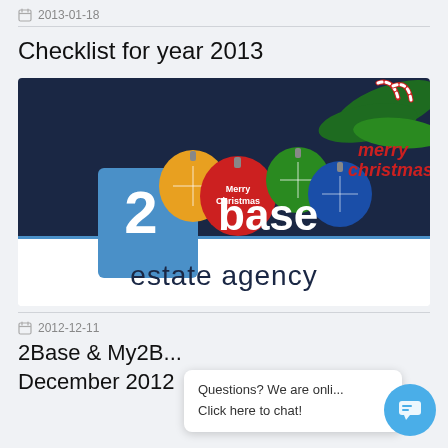2013-01-18
Checklist for year 2013
[Figure (photo): 2base estate agency Christmas promotional image with colorful ornament balls, Merry Christmas text, candy canes, and pine branches on dark navy background, with 2base estate agency logo below]
2012-12-11
2Base & My2B... December 2012
Questions? We are onli...
Click here to chat!